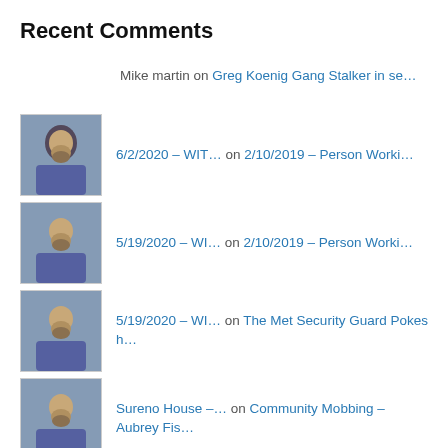Recent Comments
Mike martin on Greg Koenig Gang Stalker in se…
6/2/2020 – WIT… on 2/10/2019 – Person Worki…
5/19/2020 – WI… on 2/10/2019 – Person Worki…
5/19/2020 – WI… on The Met Security Guard Pokes h…
Sureno House –… on Community Mobbing – Aubrey Fis…
Archives
July 2022
June 2022